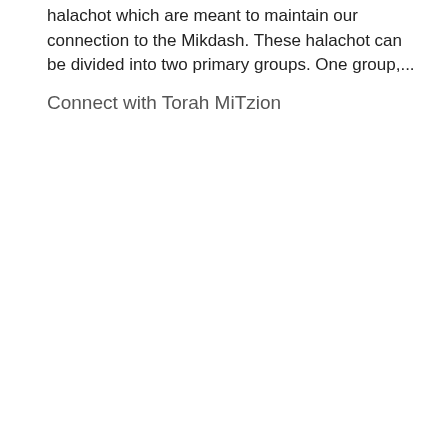halachot which are meant to maintain our connection to the Mikdash. These halachot can be divided into two primary groups. One group,...
Connect with Torah MiTzion